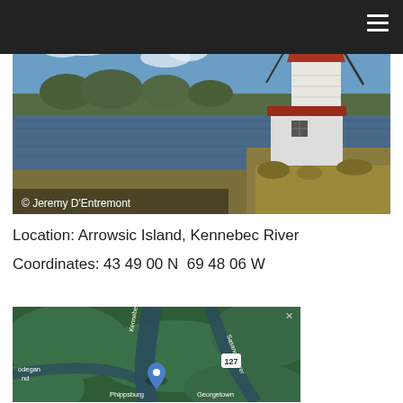[Figure (photo): Lighthouse on Arrowsic Island, Kennebec River. A white shingled lighthouse with a red roof and black lantern room stands on a grassy bank. The Kennebec River is visible in the background with trees and blue sky with clouds. Photo credit: © Jeremy D'Entremont]
Location: Arrowsic Island, Kennebec River
Coordinates: 43 49 00 N  69 48 06 W
[Figure (map): Google Maps satellite view showing Arrowsic Island area with Kennebec River, Sasanoa River, route 127, and nearby towns Phippsburg and Georgetown. A blue location pin marks the lighthouse location. Partial text visible: 'odegan nd' (Arrowhead/Hodgdon) on left.]